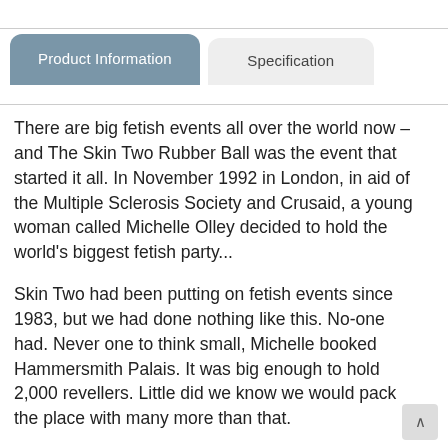Product Information
Specification
There are big fetish events all over the world now – and The Skin Two Rubber Ball was the event that started it all. In November 1992 in London, in aid of the Multiple Sclerosis Society and Crusaid, a young woman called Michelle Olley decided to hold the world's biggest fetish party...
Skin Two had been putting on fetish events since 1983, but we had done nothing like this. No-one had. Never one to think small, Michelle booked Hammersmith Palais. It was big enough to hold 2,000 revellers. Little did we know we would pack the place with many more than that.